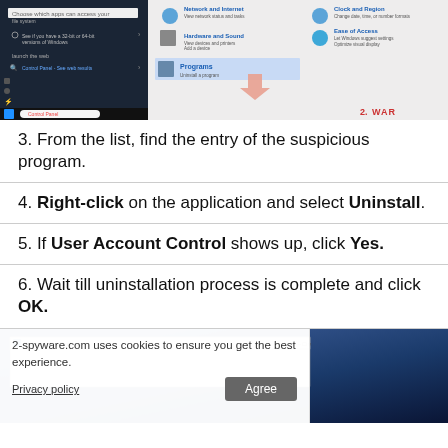[Figure (screenshot): Screenshot showing Windows Control Panel search and Programs and Features highlighted with an arrow pointing to it]
3. From the list, find the entry of the suspicious program.
4. Right-click on the application and select Uninstall.
5. If User Account Control shows up, click Yes.
6. Wait till uninstallation process is complete and click OK.
[Figure (screenshot): Screenshot of Programs and Features window with cookie consent overlay from 2-spyware.com with Privacy policy link and Agree button]